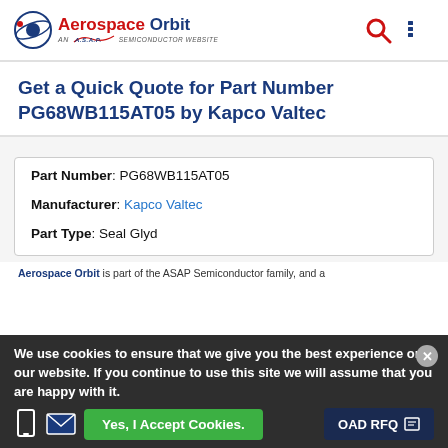Aerospace Orbit — AN A.S.A.P. SEMICONDUCTOR WEBSITE
Get a Quick Quote for Part Number PG68WB115AT05 by Kapco Valtec
| Field | Value |
| --- | --- |
| Part Number | PG68WB115AT05 |
| Manufacturer | Kapco Valtec |
| Part Type | Seal Glyd |
Aerospace Orbit is part of the ASAP Semiconductor family, and a ...
We use cookies to ensure that we give you the best experience on our website. If you continue to use this site we will assume that you are happy with it.